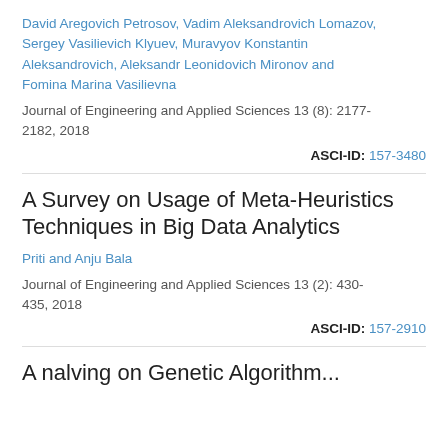David Aregovich Petrosov, Vadim Aleksandrovich Lomazov, Sergey Vasilievich Klyuev, Muravyov Konstantin Aleksandrovich, Aleksandr Leonidovich Mironov and Fomina Marina Vasilievna
Journal of Engineering and Applied Sciences 13 (8): 2177-2182, 2018
ASCI-ID: 157-3480
A Survey on Usage of Meta-Heuristics Techniques in Big Data Analytics
Priti and Anju Bala
Journal of Engineering and Applied Sciences 13 (2): 430-435, 2018
ASCI-ID: 157-2910
A nalving on Genetic Algorithm...